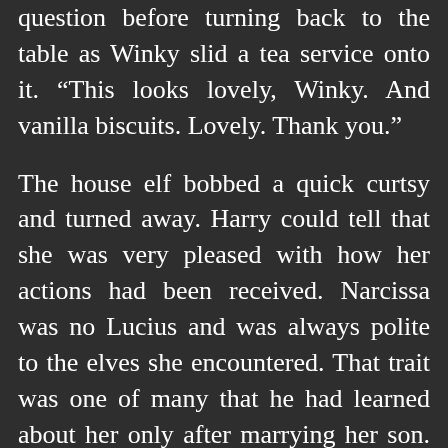question before turning back to the table as Winky slid a tea service onto it. “This looks lovely, Winky. And vanilla biscuits. Lovely. Thank you.”
The house elf bobbed a quick curtsy and turned away. Harry could tell that she was very pleased with how her actions had been received. Narcissa was no Lucius and was always polite to the elves she encountered. That trait was one of many that he had learned about her only after marrying her son. “Winky, before you go, please bring the basket with the gifts for Lady Malfoy.”